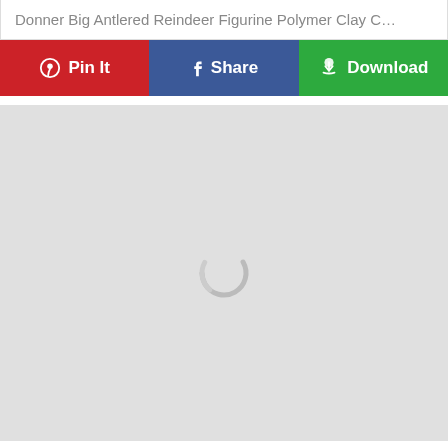Donner Big Antlered Reindeer Figurine Polymer Clay C…
[Figure (screenshot): Social sharing button row with Pin It (red/Pinterest), Share (blue/Facebook), and Download (green) buttons]
[Figure (screenshot): Gray loading area with a circular loading spinner in the center]